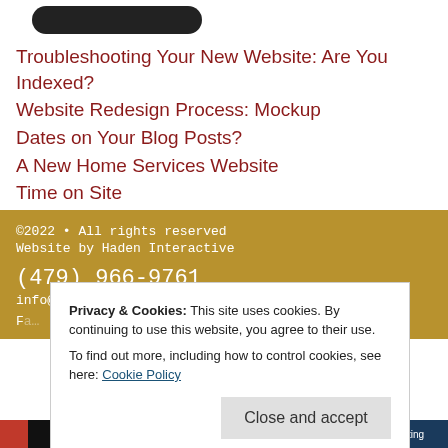[Figure (other): Dark rounded rectangle shape, partial top of image]
Troubleshooting Your New Website: Are You Indexed?
Website Redesign Process: Mockup
Dates on Your Blog Posts?
A New Home Services Website
Time on Site
©2022 • All rights reserved
Website by Haden Interactive
(479) 966-9761
info@hadeninteractive.com
F…
Privacy & Cookies: This site uses cookies. By continuing to use this website, you agree to their use.
To find out more, including how to control cookies, see here: Cookie Policy
Close and accept